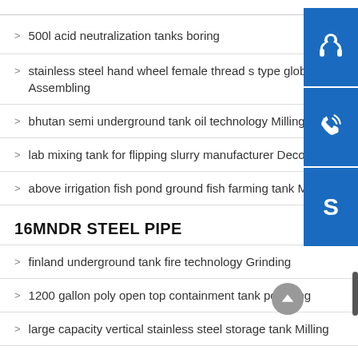500l acid neutralization tanks boring
stainless steel hand wheel female thread s type globe va... Assembling
bhutan semi underground tank oil technology Milling
lab mixing tank for flipping slurry manufacturer Decoiling
above irrigation fish pond ground fish farming tank Mach...
16MNDR STEEL PIPE
finland underground tank fire technology Grinding
1200 gallon poly open top containment tank polishing
large capacity vertical stainless steel storage tank Milling
chemical storage tank 2000l polymaster Milling